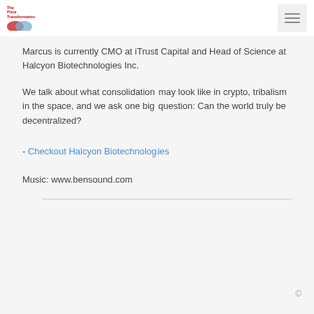The Price Transformation
Marcus is currently CMO at iTrust Capital and Head of Science at Halcyon Biotechnologies Inc.
We talk about what consolidation may look like in crypto, tribalism in the space, and we ask one big question: Can the world truly be decentralized?
- Checkout Halcyon Biotechnologies
Music: www.bensound.com
©